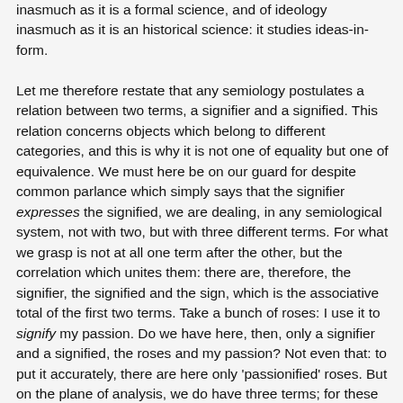inasmuch as it is a formal science, and of ideology inasmuch as it is an historical science: it studies ideas-in-form.
Let me therefore restate that any semiology postulates a relation between two terms, a signifier and a signified. This relation concerns objects which belong to different categories, and this is why it is not one of equality but one of equivalence. We must here be on our guard for despite common parlance which simply says that the signifier expresses the signified, we are dealing, in any semiological system, not with two, but with three different terms. For what we grasp is not at all one term after the other, but the correlation which unites them: there are, therefore, the signifier, the signified and the sign, which is the associative total of the first two terms. Take a bunch of roses: I use it to signify my passion. Do we have here, then, only a signifier and a signified, the roses and my passion? Not even that: to put it accurately, there are here only 'passionified' roses. But on the plane of analysis, we do have three terms; for these roses weighted with passion perfectly and correctly allow